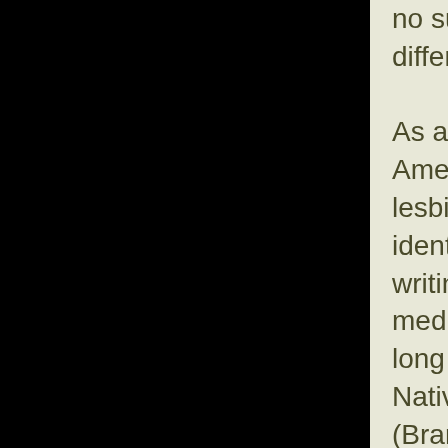no such study exists. Therefore, I found how differences between lesbians of different tribes. As a result of their inherent differences, Native American lesbians face different issues than white lesbians. They must reclaim and heal their cultural identity which they are doing through activism, art, writing, and environmentalism. Writing is considered medicine by Brant. Healing through writing began a long time ago with the first novel written by a female Native, Hum-Ishu-Ma (Okanagan Nation), in1910 (Brant 10). In 1984, Brant edited the first anthology by Native women called A Gathering of Spirit. She has also contributed to the healing process with several of her own books. In 1978 the first lesbian and gay Native anthology Living the Sprit was published. Native American lesbians have not quit there, they continue to create poetry, books, and plays. Environmentalism plays a big part in the healing process as well because Native Americans are connected to their land. Brant, Thunder, Cameron and others talk about the importance of taking care of the earth and teaching others how to take care of it. It is important to them to maintain natural resources, heal land that has been raped by whites, and recover more of the land they once lived on. Native American communities have to deal with issues like fighting the placement of